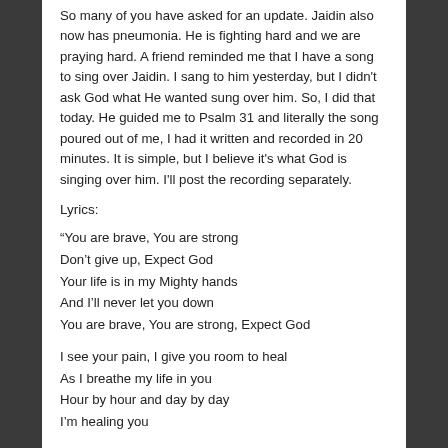So many of you have asked for an update. Jaidin also now has pneumonia. He is fighting hard and we are praying hard. A friend reminded me that I have a song to sing over Jaidin. I sang to him yesterday, but I didn't ask God what He wanted sung over him. So, I did that today. He guided me to Psalm 31 and literally the song poured out of me, I had it written and recorded in 20 minutes. It is simple, but I believe it's what God is singing over him. I'll post the recording separately.
Lyrics:
“You are brave, You are strong
Don’t give up, Expect God
Your life is in my Mighty hands
And I’ll never let you down
You are brave, You are strong, Expect God

I see your pain, I give you room to heal
As I breathe my life in you
Hour by hour and day by day
I’m healing you

With great expectation I come
With my healing oil I come